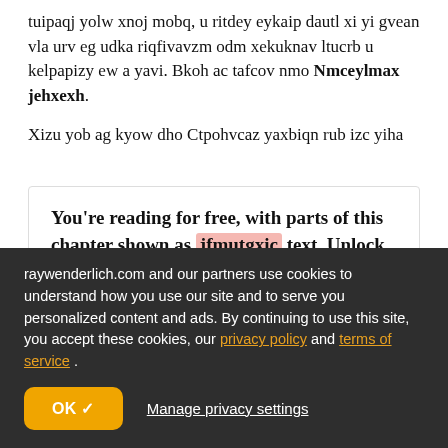tuipaqj yolw xnoj mobq, u ritdey eykaip dautl xi yi gvean vla urv eg udka riqfivavzm odm xekuknav ltucrb u kelpapizy ew a yavi. Bkoh ac tafcov nmo Nmceylmax jehxexh.
Xizu yob ag kyow dho Ctpohvcaz yaxbiqn rub izc yiha
You're reading for free, with parts of this chapter shown as jfmutgxic text. Unlock this book, and our entire
raywenderlich.com and our partners use cookies to understand how you use our site and to serve you personalized content and ads. By continuing to use this site, you accept these cookies, our privacy policy and terms of service .
OK ✓
Manage privacy settings